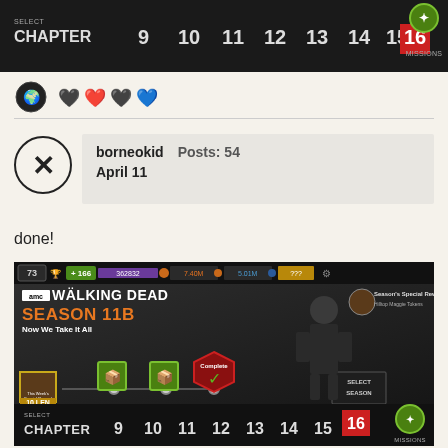[Figure (screenshot): Game screenshot showing 'SELECT CHAPTER' bar with chapter numbers 9 10 11 12 13 14 15 16 and MISSIONS button]
[Figure (screenshot): Row of emoji reaction icons including a globe/reaction emoji and heart emojis]
borneokid   Posts: 54
April 11
done!
[Figure (screenshot): AMC Walking Dead Season 11B 'Now We Take It All' game screenshot showing Complete badge with checkmark, character Daryl, reward icons, and Season/Chapter selection screens]